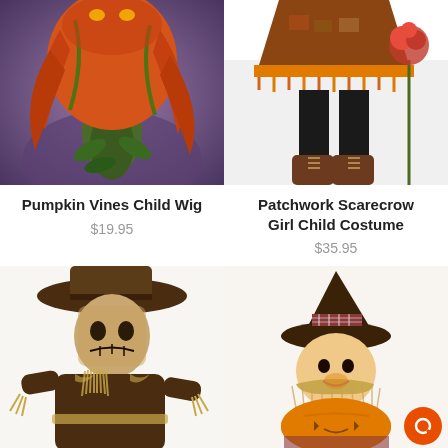[Figure (photo): Close-up of a person wearing a Pumpkin Vines Child Wig with orange and green hair and a dark floral costume]
[Figure (photo): Lower body of a girl wearing Patchwork Scarecrow Girl Child Costume with black tights, brown boots, and a patchwork skirt holding fall flowers]
Pumpkin Vines Child Wig
$19.95
Patchwork Scarecrow Girl Child Costume
$35.95
[Figure (photo): Full body shot of a child in a scary brown Scarecrow costume with a wide-brim hat]
[Figure (photo): Toddler wearing an orange pumpkin/scarecrow costume with a dark brown witch hat and plaid trim]